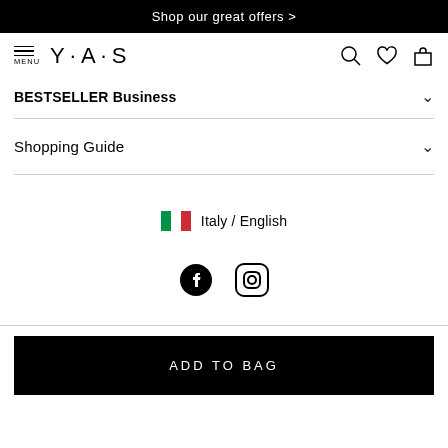Shop our great offers >
[Figure (logo): Y·A·S brand logo with hamburger menu icon on left and search, heart, bag icons on right]
BESTSELLER Business
Shopping Guide
Italy / English
[Figure (illustration): Facebook and Instagram social media icons]
ADD TO BAG